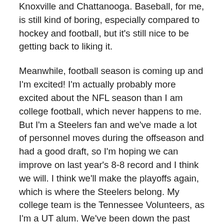Knoxville and Chattanooga. Baseball, for me, is still kind of boring, especially compared to hockey and football, but it's still nice to be getting back to liking it.
Meanwhile, football season is coming up and I'm excited! I'm actually probably more excited about the NFL season than I am college football, which never happens to me. But I'm a Steelers fan and we've made a lot of personnel moves during the offseason and had a good draft, so I'm hoping we can improve on last year's 8-8 record and I think we will. I think we'll make the playoffs again, which is where the Steelers belong. My college team is the Tennessee Volunteers, as I'm a UT alum. We've been down the past few years, which has been tough, especially after seeing a spectacular 1990s decade with Peyton Manning and a national championship. However, second year coach Butch Jones had a good recruiting